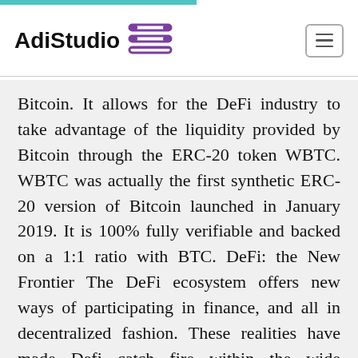AdiStudio
Bitcoin. It allows for the DeFi industry to take advantage of the liquidity provided by Bitcoin through the ERC-20 token WBTC. WBTC was actually the first synthetic ERC-20 version of Bitcoin launched in January 2019. It is 100% fully verifiable and backed on a 1:1 ratio with BTC. DeFi: the New Frontier The DeFi ecosystem offers new ways of participating in finance, and all in decentralized fashion. These realities have made Defi catch fire within the wide cryptoeconomy this year. Indeed, back in January DeFi projects had less than $1 billion worth of assets under management. In fact, WBTC is the biggest enabler of Bitcoin on